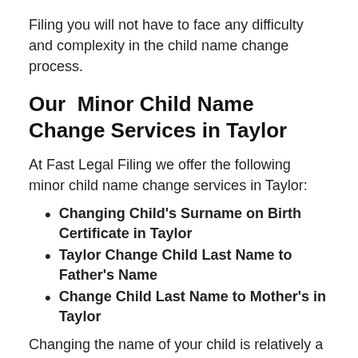Filing you will not have to face any difficulty and complexity in the child name change process.
Our  Minor Child Name Change Services in Taylor
At Fast Legal Filing we offer the following minor child name change services in Taylor:
Changing Child's Surname on Birth Certificate in Taylor
Taylor Change Child Last Name to Father's Name
Change Child Last Name to Mother's in Taylor
Changing the name of your child is relatively a simple procedure with Fast Legal Filing Child Name Change Service. A name change is not allowed by the court if the change of the name affects the right of another person. At Fast Legal Filing we help our clients at every